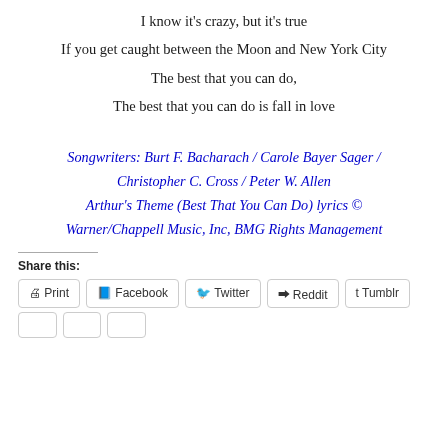I know it's crazy, but it's true
If you get caught between the Moon and New York City
The best that you can do,
The best that you can do is fall in love
Songwriters: Burt F. Bacharach / Carole Bayer Sager / Christopher C. Cross / Peter W. Allen
Arthur's Theme (Best That You Can Do) lyrics © Warner/Chappell Music, Inc, BMG Rights Management
Share this:
Print  Facebook  Twitter  Reddit  Tumblr